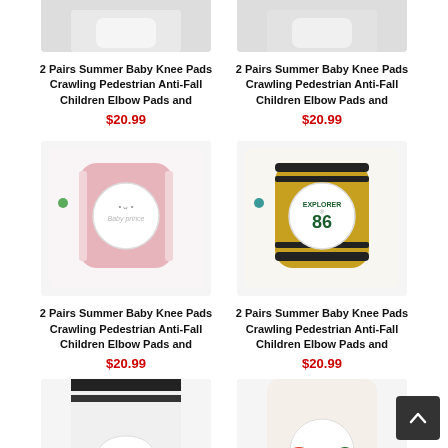[Figure (photo): Partial top of two baby knee pad product images (cropped at top)]
2 Pairs Summer Baby Knee Pads Crawling Pedestrian Anti-Fall Children Elbow Pads and
$20.99
2 Pairs Summer Baby Knee Pads Crawling Pedestrian Anti-Fall Children Elbow Pads and
$20.99
[Figure (photo): Pink baby knee pads with cute character patch in circular logo]
[Figure (photo): Yellow/gold baby knee pads with Explorer 86 circular logo, black stripes]
2 Pairs Summer Baby Knee Pads Crawling Pedestrian Anti-Fall Children Elbow Pads and
$20.99
2 Pairs Summer Baby Knee Pads Crawling Pedestrian Anti-Fall Children Elbow Pads and
$20.99
[Figure (photo): Partial bottom cropped view of black/white baby knee pads]
[Figure (photo): Partial bottom cropped view of cream/red baby knee pads]